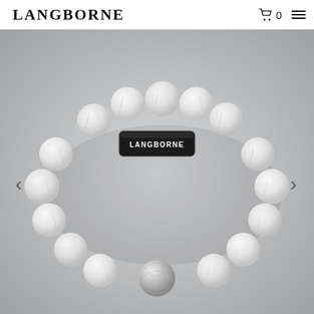LANGBORNE
[Figure (photo): A beaded bracelet made of white/light gray marble-patterned howlite stone beads with a black rectangular LANGBORNE logo bar clasp and a silver ornate bead accent, photographed on a light gray background.]